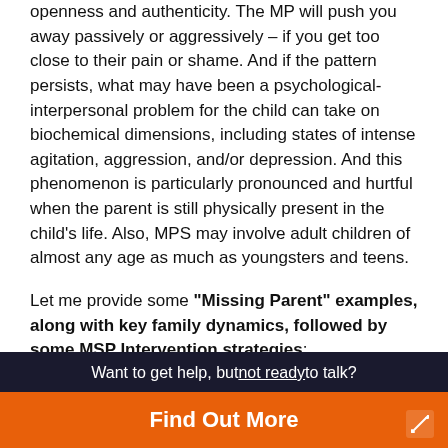openness and authenticity. The MP will push you away passively or aggressively – if you get too close to their pain or shame. And if the pattern persists, what may have been a psychological-interpersonal problem for the child can take on biochemical dimensions, including states of intense agitation, aggression, and/or depression. And this phenomenon is particularly pronounced and hurtful when the parent is still physically present in the child's life. Also, MPS may involve adult children of almost any age as much as youngsters and teens.
Let me provide some "Missing Parent" examples, along with key family dynamics, followed by some MSP Intervention strategies:
1. Lonely, Wounded Mother and "Clinging" Son. A Supervisor, who I'll call Eric, in a recent workshop with five other management-level colleagues, shared how his once
Want to get help, but not ready to talk?
Find Out More